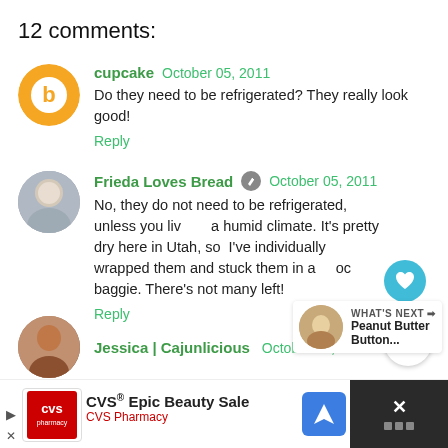12 comments:
cupcake  October 05, 2011
Do they need to be refrigerated? They really look good!
Reply
Frieda Loves Bread  October 05, 2011
No, they do not need to be refrigerated, unless you live in a humid climate. It's pretty dry here in Utah, so I've individually wrapped them and stuck them in a zoc baggie. There's not many left!
Reply
Jessica | Cajunlicious  October 05, 2011
[Figure (screenshot): CVS Epic Beauty Sale advertisement banner at the bottom of the page]